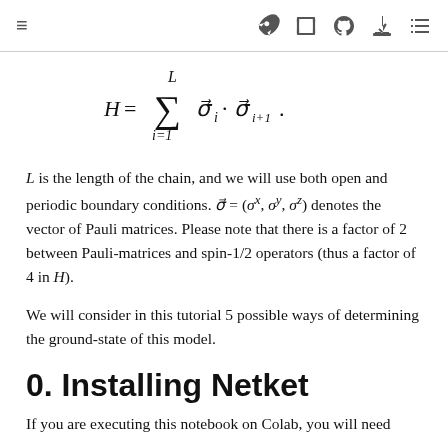≡  🚀  ⬜  ◯  ⬇  ☰
L is the length of the chain, and we will use both open and periodic boundary conditions. σ⃗ = (σˣ, σʸ, σᶻ) denotes the vector of Pauli matrices. Please note that there is a factor of 2 between Pauli-matrices and spin-1/2 operators (thus a factor of 4 in H).
We will consider in this tutorial 5 possible ways of determining the ground-state of this model.
0. Installing Netket
If you are executing this notebook on Colab, you will need